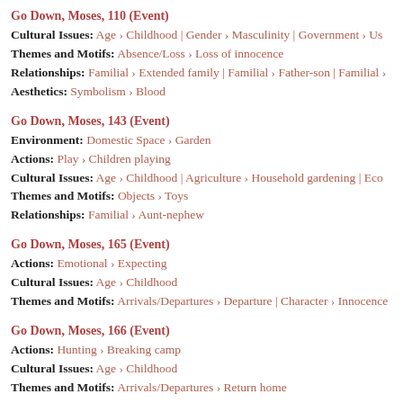Go Down, Moses, 110 (Event)
Cultural Issues: Age › Childhood | Gender › Masculinity | Government › Us
Themes and Motifs: Absence/Loss › Loss of innocence
Relationships: Familial › Extended family | Familial › Father-son | Familial ›
Aesthetics: Symbolism › Blood
Go Down, Moses, 143 (Event)
Environment: Domestic Space › Garden
Actions: Play › Children playing
Cultural Issues: Age › Childhood | Agriculture › Household gardening | Eco
Themes and Motifs: Objects › Toys
Relationships: Familial › Aunt-nephew
Go Down, Moses, 165 (Event)
Actions: Emotional › Expecting
Cultural Issues: Age › Childhood
Themes and Motifs: Arrivals/Departures › Departure | Character › Innocence
Go Down, Moses, 166 (Event)
Actions: Hunting › Breaking camp
Cultural Issues: Age › Childhood
Themes and Motifs: Arrivals/Departures › Return home